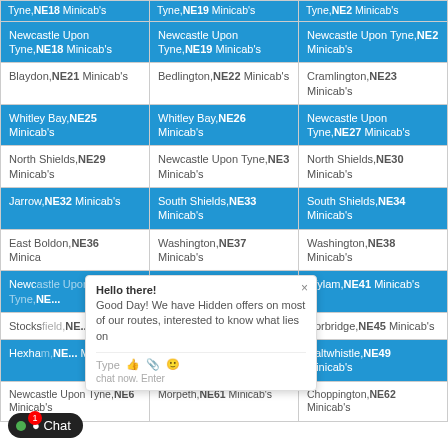| Tyne,NE18 Minicab's | Tyne,NE19 Minicab's | Tyne,NE2 Minicab's |
| Newcastle Upon Tyne,NE18 Minicab's | Newcastle Upon Tyne,NE19 Minicab's | Newcastle Upon Tyne,NE2 Minicab's |
| Blaydon,NE21 Minicab's | Bedlington,NE22 Minicab's | Cramlington,NE23 Minicab's |
| Whitley Bay,NE25 Minicab's | Whitley Bay,NE26 Minicab's | Newcastle Upon Tyne,NE27 Minicab's |
| North Shields,NE29 Minicab's | Newcastle Upon Tyne,NE3 Minicab's | North Shields,NE30 Minicab's |
| Jarrow,NE32 Minicab's | South Shields,NE33 Minicab's | South Shields,NE34 Minicab's |
| East Boldon,NE36 Minicab's | Washington,NE37 Minicab's | Washington,NE38 Minicab's |
| Newcastle Upon Tyne,NE... | Ryton,NE40 Minicab's | Wylam,NE41 Minicab's |
| Stocksfield,NE... Minicab's | Riding Mill,NE44 Minicab's | Corbridge,NE45 Minicab's |
| Hexham,NE... Minicab's | Hexham,NE48 Minicab's | Haltwhistle,NE49 Minicab's |
| Newcastle Upon Tyne,NE6 Minicab's | Morpeth,NE61 Minicab's | Choppington,NE62 Minicab's |